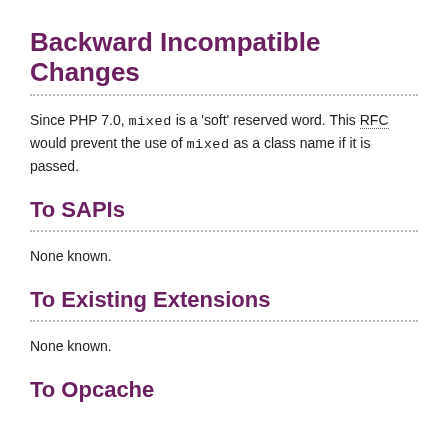Backward Incompatible Changes
Since PHP 7.0, mixed is a 'soft' reserved word. This RFC would prevent the use of mixed as a class name if it is passed.
To SAPIs
None known.
To Existing Extensions
None known.
To Opcache